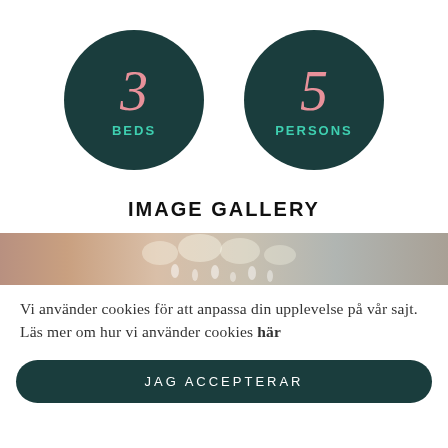[Figure (infographic): Two dark teal circular badges: left circle shows '3' in pink italic with 'BEDS' in teal below; right circle shows '5' in pink italic with 'PERSONS' in teal below]
IMAGE GALLERY
[Figure (photo): Partial image strip showing a chandelier with crystal droplets against a warm background]
Vi använder cookies för att anpassa din upplevelse på vår sajt. Läs mer om hur vi använder cookies här
JAG ACCEPTERAR